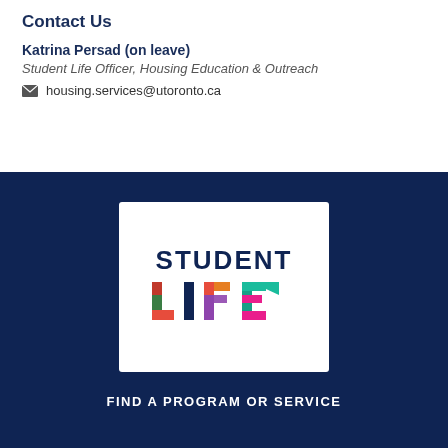Contact Us
Katrina Persad (on leave)
Student Life Officer, Housing Education & Outreach
housing.services@utoronto.ca
[Figure (logo): Student Life logo: 'STUDENT LIFE' text with colorful segmented letters on white background]
FIND A PROGRAM OR SERVICE